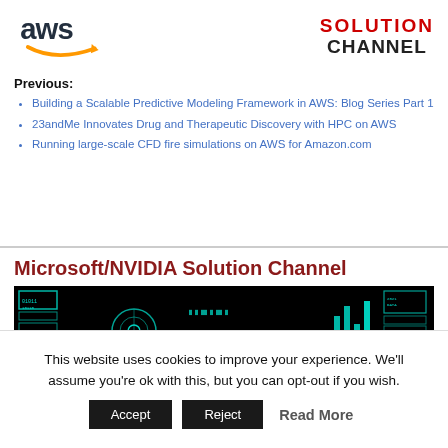[Figure (logo): AWS logo (text 'aws' in dark blue with orange smile/arrow) and Solution Channel logo in red and black text]
Previous:
Building a Scalable Predictive Modeling Framework in AWS: Blog Series Part 1
23andMe Innovates Drug and Therapeutic Discovery with HPC on AWS
Running large-scale CFD fire simulations on AWS for Amazon.com
Microsoft/NVIDIA Solution Channel
[Figure (screenshot): Dark technology/data visualization image with teal/cyan colored digital data displays and a circular targeting element on dark background]
This website uses cookies to improve your experience. We'll assume you're ok with this, but you can opt-out if you wish.